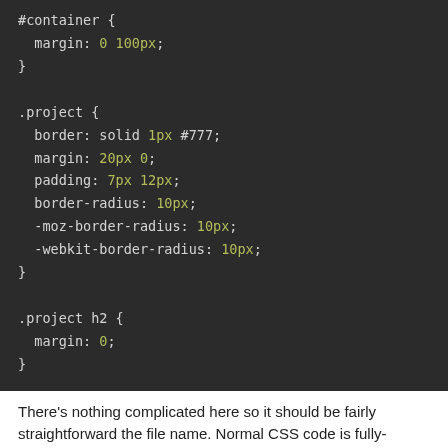[Figure (screenshot): Dark-themed code editor screenshot showing CSS code for #container, .project, and .project h2 rules with syntax highlighting (green for values, light gray for properties and selectors).]
There's nothing complicated here so it should be fairly straightforward the file name. Normal CSS code is fully-compliant with SASS if the file should look exactly the same.
So, that's it, our site is using SASS. Is that all we need to do? Well, no choose the SASS features we want to use. If we have a site with a nu them to introduce SASS features as and when we wanted. Given the straightaway.
Nesting